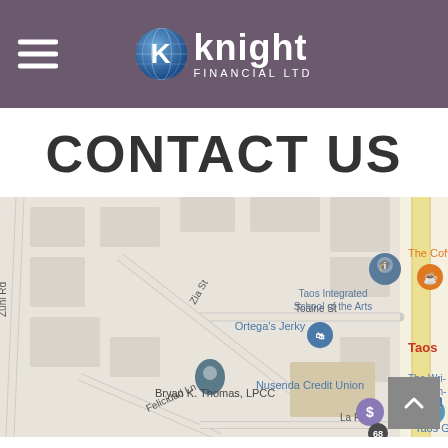Knight Financial Ltd
CONTACT US
[Figure (map): Google Maps screenshot showing area around Taos, NM with landmarks including Taos Integrated School of the Arts, Ortega's Jerky, Bryan K. Thomas LPCC, Nusenda Credit Union, The Coffee shop, The Wri- Contem-, Taos Gems. Streets visible: Zuni Rd, Zia St, Toalne St, Felicidad Ln, La Po-. Highway 68 visible on right side.]